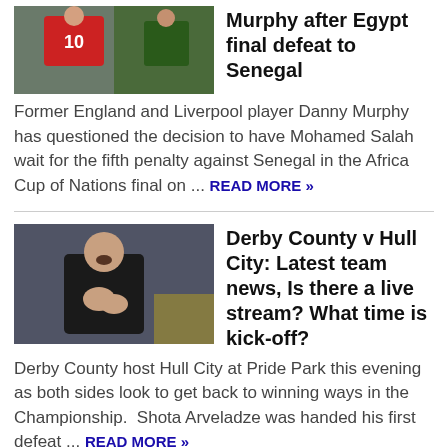[Figure (photo): Football player wearing red jersey with number 10, green-clad opponent behind]
Murphy after Egypt final defeat to Senegal
Former England and Liverpool player Danny Murphy has questioned the decision to have Mohamed Salah wait for the fifth penalty against Senegal in the Africa Cup of Nations final on ... READ MORE »
[Figure (photo): Man in black jacket shouting/coaching with hands gesturing, crowd in background]
Derby County v Hull City: Latest team news, Is there a live stream? What time is kick-off?
Derby County host Hull City at Pride Park this evening as both sides look to get back to winning ways in the Championship.  Shota Arveladze was handed his first defeat ... READ MORE »